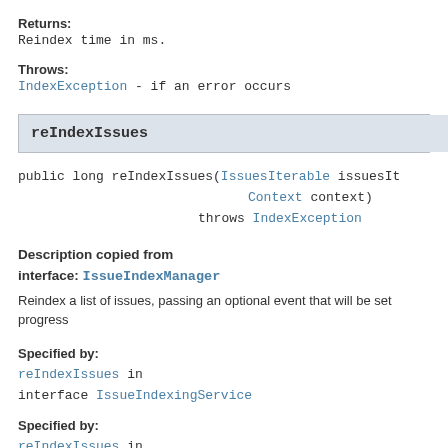Returns:
Reindex time in ms.
Throws:
IndexException - if an error occurs
reIndexIssues
public long reIndexIssues(IssuesIterable issuesIt
                                    Context context)
                          throws IndexException
Description copied from interface: IssueIndexManager
Reindex a list of issues, passing an optional event that will be set progress
Specified by:
reIndexIssues in interface IssueIndexingService
Specified by:
reIndexIssues in